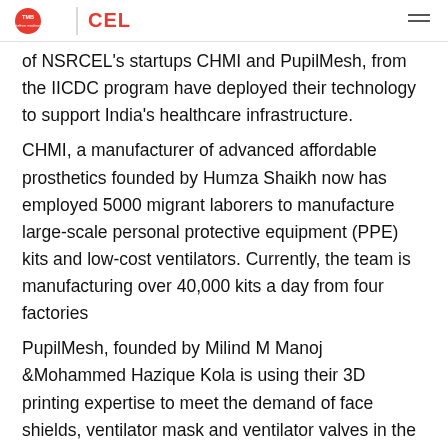TMB | CEL
of NSRCEL's startups CHMI and PupilMesh, from the IICDC program have deployed their technology to support India's healthcare infrastructure.
CHMI, a manufacturer of advanced affordable prosthetics founded by Humza Shaikh now has employed 5000 migrant laborers to manufacture large-scale personal protective equipment (PPE) kits and low-cost ventilators. Currently, the team is manufacturing over 40,000 kits a day from four factories
PupilMesh, founded by Milind M Manoj &Mohammed Hazique Kola is using their 3D printing expertise to meet the demand of face shields, ventilator mask and ventilator valves in the country. They have successfully